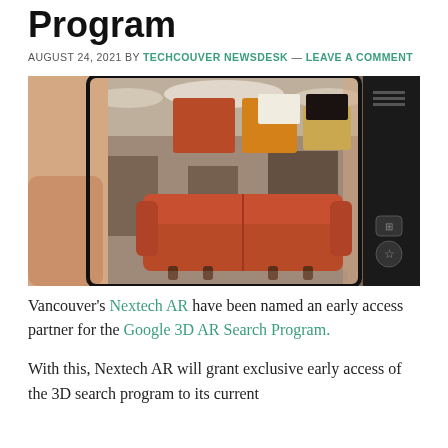Program
AUGUST 24, 2021 BY TECHCOUVER NEWSDESK — LEAVE A COMMENT
[Figure (photo): Two hands holding a tablet displaying an augmented reality shopping app with colored swatches and an orange sofa on a blurred retail background]
Vancouver's Nextech AR have been named an early access partner for the Google 3D AR Search Program.
With this, Nextech AR will grant exclusive early access of the 3D search program to its current